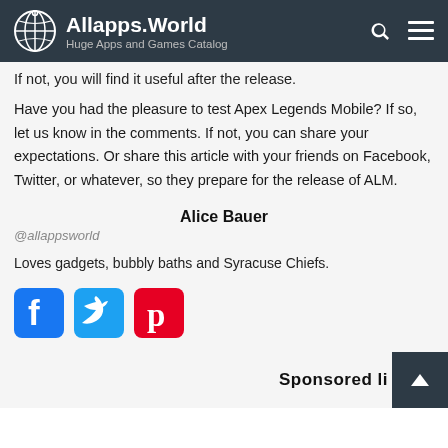Allapps.World — Huge Apps and Games Catalog
If not, you will find it useful after the release.
Have you had the pleasure to test Apex Legends Mobile? If so, let us know in the comments. If not, you can share your expectations. Or share this article with your friends on Facebook, Twitter, or whatever, so they prepare for the release of ALM.
Alice Bauer
@allappsworld
Loves gadgets, bubbly baths and Syracuse Chiefs.
[Figure (other): Social share icons: Facebook (blue square with f), Twitter (light blue square with bird), Pinterest (red square with P)]
Sponsored li...